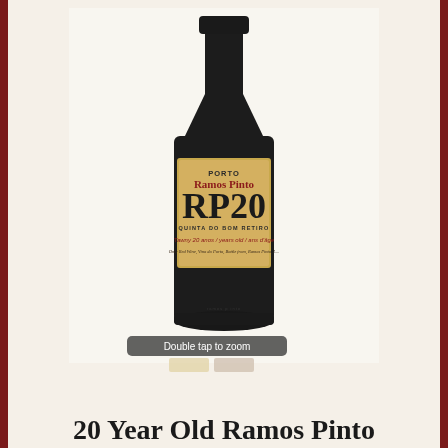[Figure (photo): A dark wine bottle of Ramos Pinto Porto RP20 Quinta do Bom Retiro Tawny 20 anos / years old / ans d'age, with a tan/kraft paper label featuring red and black text. A 'Double tap to zoom' overlay appears at the bottom of the image.]
20 Year Old Ramos Pinto